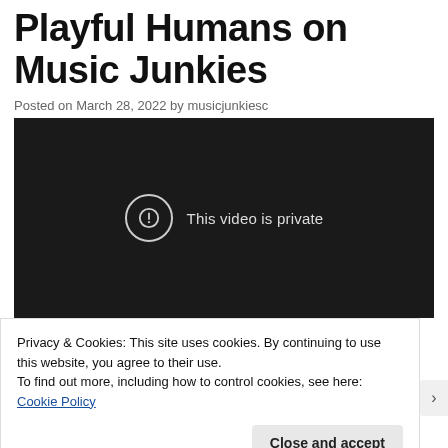Playful Humans on Music Junkies
Posted on March 28, 2022 by musicjunkiesc
[Figure (screenshot): Embedded video player showing 'This video is private' error message with exclamation icon on dark background]
Privacy & Cookies: This site uses cookies. By continuing to use this website, you agree to their use.
To find out more, including how to control cookies, see here: Cookie Policy
Close and accept